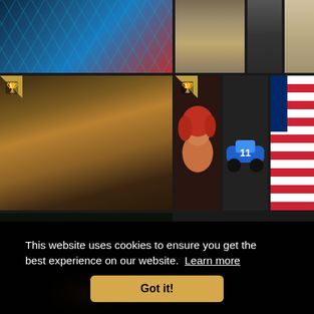[Figure (screenshot): Website screenshot showing a grid of photorealistic and CG rendered images arranged in rows. Top row has a sci-fi blue hexagonal interior, stone lion sculpture, dark camera/device, and beige fabric. Middle row has a large Mars/alien landscape with crashed spacecraft, followed by an animated red-haired girl, a blue racing car numbered 11, a colorful USA-themed interior, and a dark close-up. Bottom partial rows show dark forest/fire scenes. Trophy icons appear on several thumbnails. A cookie consent banner overlays the lower portion.]
This website uses cookies to ensure you get the best experience on our website.  Learn more
Got it!